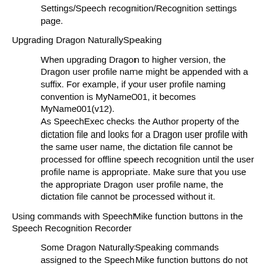Settings/Speech recognition/Recognition settings page.
Upgrading Dragon NaturallySpeaking
When upgrading Dragon to higher version, the Dragon user profile name might be appended with a suffix. For example, if your user profile naming convention is MyName001, it becomes MyName001(v12).
As SpeechExec checks the Author property of the dictation file and looks for a Dragon user profile with the same user name, the dictation file cannot be processed for offline speech recognition until the user profile name is appropriate. Make sure that you use the appropriate Dragon user profile name, the dictation file cannot be processed without it.
Using commands with SpeechMike function buttons in the Speech Recognition Recorder
Some Dragon NaturallySpeaking commands assigned to the SpeechMike function buttons do not operate in the online recorder.
Highlighting not synchronized with text during playback of speech recognized documents